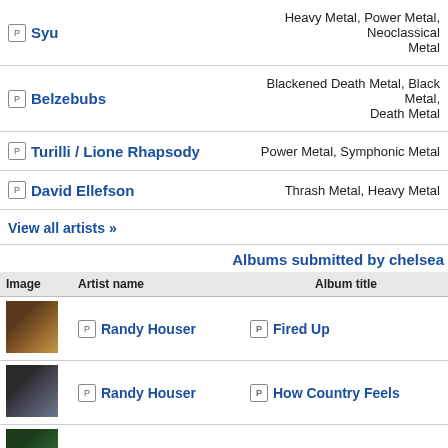P Syu — Heavy Metal, Power Metal, Neoclassical Metal
P Belzebubs — Blackened Death Metal, Black Metal, Death Metal
P Turilli / Lione Rhapsody — Power Metal, Symphonic Metal
P David Ellefson — Thrash Metal, Heavy Metal
View all artists »
Albums submitted by chelsea
| Image | Artist name | Album title |
| --- | --- | --- |
| [img] | P Randy Houser | P Fired Up |
| [img] | P Randy Houser | P How Country Feels |
| [img] | P Randy Houser | P They Call Me Cadillac |